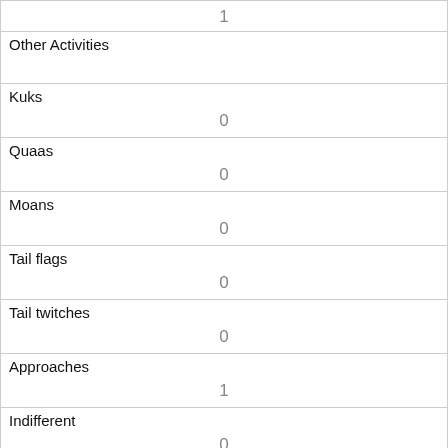| 1 |
| Other Activities |  |
| Kuks | 0 |
| Quaas | 0 |
| Moans | 0 |
| Tail flags | 0 |
| Tail twitches | 0 |
| Approaches | 1 |
| Indifferent | 0 |
| Runs from | 1 |
| Other Interactions | first approaches then runs from - he was less than 1 |